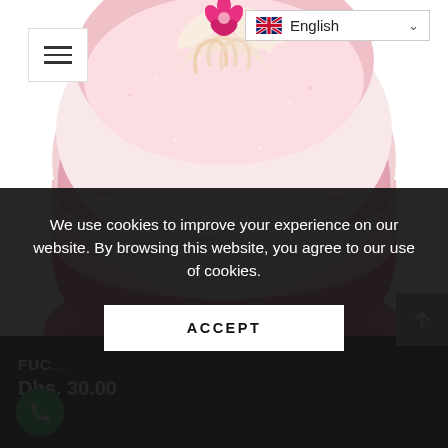[Figure (photo): Pink and white bath bomb with cream swirl topping and pink flower decoration on top, photographed against white background]
FUC... [product name truncated by cookie banner]
Dhs. 30.00
We use cookies to improve your experience on our website. By browsing this website, you agree to our use of cookies.
ACCEPT